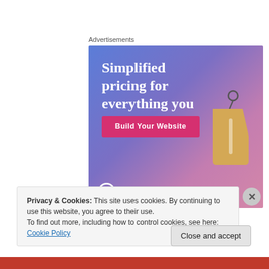Advertisements
[Figure (illustration): WordPress.com advertisement banner with blue-purple gradient background, large white serif text 'Simplified pricing for everything you need.', a pink 'Build Your Website' button, a 3D price tag graphic, and WordPress.com logo at the bottom.]
Privacy & Cookies: This site uses cookies. By continuing to use this website, you agree to their use.
To find out more, including how to control cookies, see here: Cookie Policy